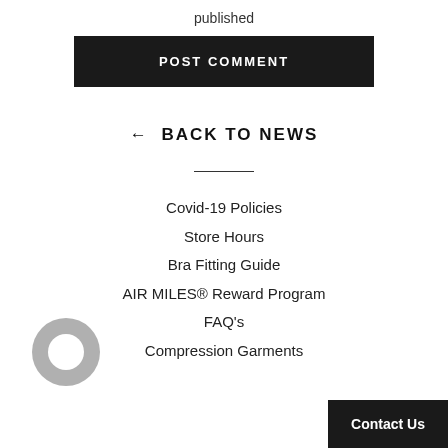published
POST COMMENT
← BACK TO NEWS
Covid-19 Policies
Store Hours
Bra Fitting Guide
AIR MILES® Reward Program
FAQ's
Compression Garments
Contact Us